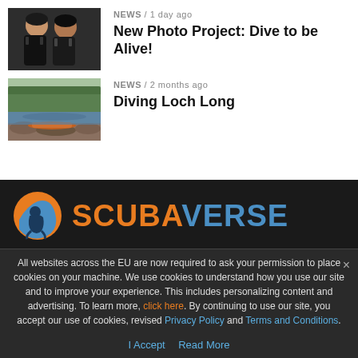[Figure (photo): Two women in scuba diving gear/wetsuits standing together]
NEWS / 1 day ago
New Photo Project: Dive to be Alive!
[Figure (photo): Coastal scene with boats on a rocky shore and forested hills in background]
NEWS / 2 months ago
Diving Loch Long
[Figure (logo): ScubaVerse logo with orange and blue globe icon and SCUBAVERSE text]
All websites across the EU are now required to ask your permission to place cookies on your machine. We use cookies to understand how you use our site and to improve your experience. This includes personalizing content and advertising. To learn more, click here. By continuing to use our site, you accept our use of cookies, revised Privacy Policy and Terms and Conditions.
I Accept  Read More